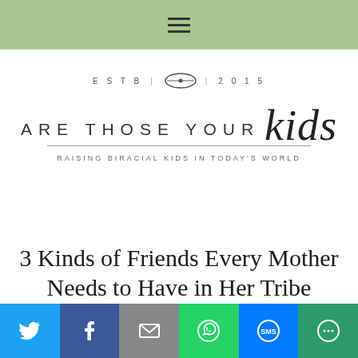Navigation menu bar
[Figure (logo): Are Those Your Kids blog logo — ESTB | sewing icon | 2015, ARE THOSE YOUR kids (script), tagline: RAISING BIRACIAL KIDS IN TODAY'S WORLD]
3 Kinds of Friends Every Mother Needs to Have in Her Tribe
July 16, 2017 By Diedre 20 Comments
Social share bar: Twitter, Facebook, Email, WhatsApp, SMS, More